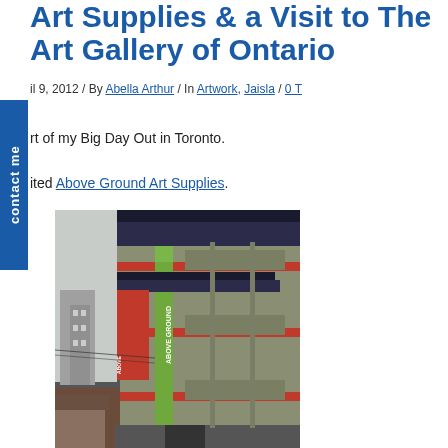Art Supplies & a Visit to The Art Gallery of Ontario
April 9, 2012 / By Abella Arthur / In Artwork, Jaisla / 0 T
...rt of my Big Day Out in Toronto.
...ited Above Ground Art Supplies.
[Figure (photo): Street-level photograph looking up at a multi-storey building with olive/green and red horizontal accents, red vertical banners reading 'Above Ground', taken on an overcast day in Toronto.]